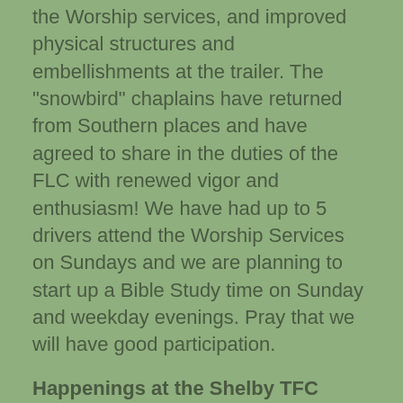the Worship services, and improved physical structures and embellishments at the trailer. The "snowbird" chaplains have returned from Southern places and have agreed to share in the duties of the FLC with renewed vigor and enthusiasm! We have had up to 5 drivers attend the Worship Services on Sundays and we are planning to start up a Bible Study time on Sunday and weekday evenings. Pray that we will have good participation.
Happenings at the Shelby TFC Outpost:
All the Time, God is Good! There is a movement of the Spirit at the Shelby Outpost where the local Shelby Life Church's pastor is encouraging TLC Global to gather momentum for reaching the truck drivers, warehouse staff, office...